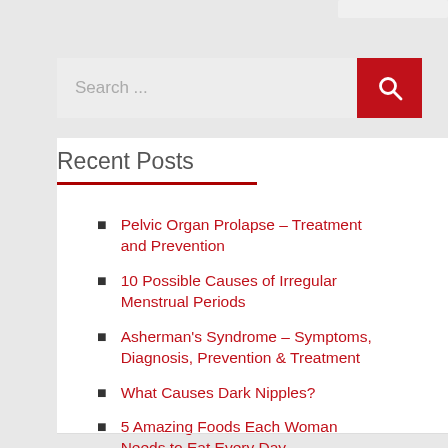[Figure (screenshot): Search bar with text 'Search ...' and a red search button with magnifying glass icon]
Recent Posts
Pelvic Organ Prolapse – Treatment and Prevention
10 Possible Causes of Irregular Menstrual Periods
Asherman's Syndrome – Symptoms, Diagnosis, Prevention & Treatment
What Causes Dark Nipples?
5 Amazing Foods Each Woman Needs to Eat Every Day